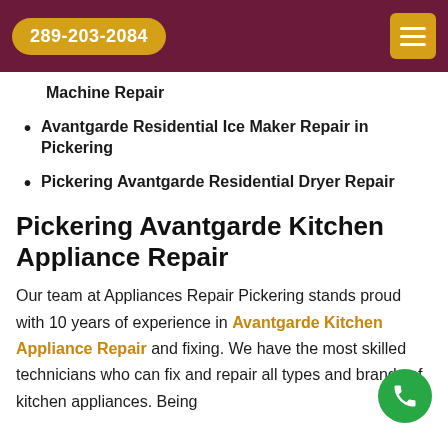289-203-2084
Machine Repair
Avantgarde Residential Ice Maker Repair in Pickering
Pickering Avantgarde Residential Dryer Repair
Pickering Avantgarde Kitchen Appliance Repair
Our team at Appliances Repair Pickering stands proud with 10 years of experience in Avantgarde Kitchen Appliance Repair and fixing. We have the most skilled technicians who can fix and repair all types and brands of kitchen appliances. Being